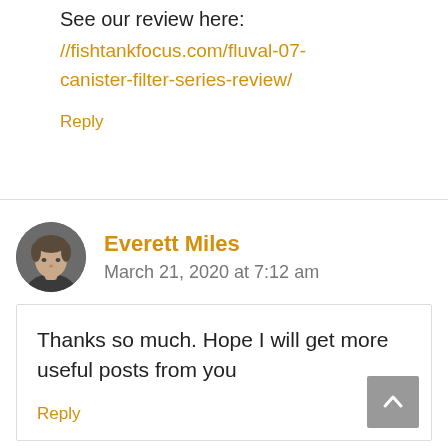See our review here:
//fishtankfocus.com/fluval-07-canister-filter-series-review/
Reply
Everett Miles
March 21, 2020 at 7:12 am
Thanks so much. Hope I will get more useful posts from you
Reply